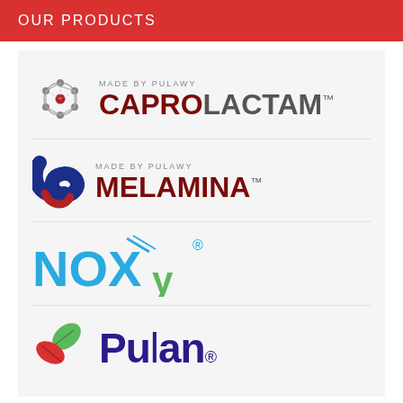OUR PRODUCTS
[Figure (logo): CAPROLACTAM Made by Pulawy logo with molecular structure icon]
[Figure (logo): MELAMINA Made by Pulawy logo with blue/red swirl icon]
[Figure (logo): NOXy logo in blue and green letters]
[Figure (logo): Pulan logo with green and red leaf icon and dark blue text]